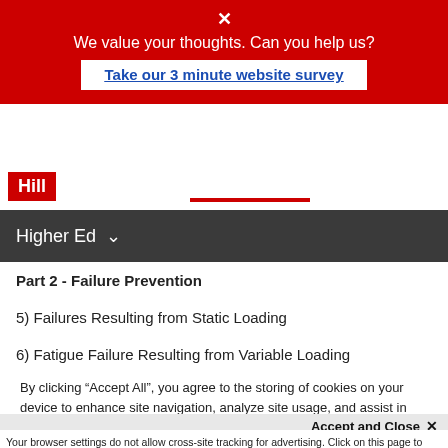[Figure (screenshot): Red survey banner with close X, text 'We value your thoughts. Can you help us?' and link button 'Take our 3 minute website survey']
[Figure (logo): Hill publisher logo in red box]
Higher Ed
Part 2 - Failure Prevention
5) Failures Resulting from Static Loading
6) Fatigue Failure Resulting from Variable Loading
Part 3 - Design of Mechanical Elements
By clicking “Accept All”, you agree to the storing of cookies on your device to enhance site navigation, analyze site usage, and assist in our marketing efforts.
Accept and Close ×
Your browser settings do not allow cross-site tracking for advertising. Click on this page to allow AdRoll to use cross-site tracking to tailor ads to you. Learn more or opt out of this AdRoll tracking by clicking here. This message only appears once.